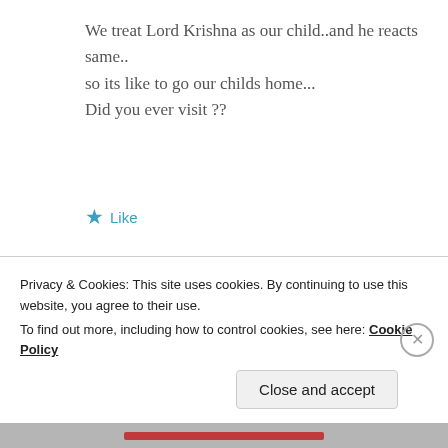We treat Lord Krishna as our child..and he reacts same.. so its like to go our childs home... Did you ever visit ??
★ Like
ZEALOUS HOMO SAPIENS
20 Apr 2019 at 1:10 pm
Privacy & Cookies: This site uses cookies. By continuing to use this website, you agree to their use.
To find out more, including how to control cookies, see here: Cookie Policy
Close and accept